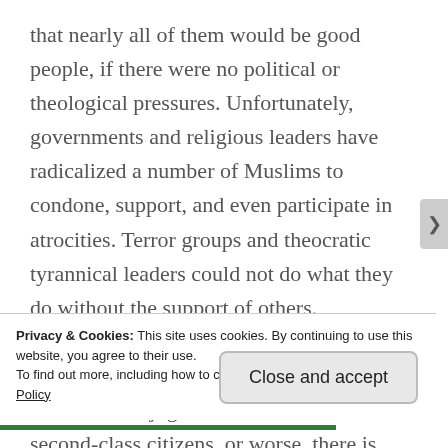that nearly all of them would be good people, if there were no political or theological pressures. Unfortunately, governments and religious leaders have radicalized a number of Muslims to condone, support, and even participate in atrocities. Terror groups and theocratic tyrannical leaders could not do what they do without the support of others.

When nearly half a billion women in the world are subjugated and treated like second-class citizens, or worse, there is something fundamentally wrong with the culture which perpetuates this, century
Privacy & Cookies: This site uses cookies. By continuing to use this website, you agree to their use.
To find out more, including how to control cookies, see here: Cookie Policy
Close and accept